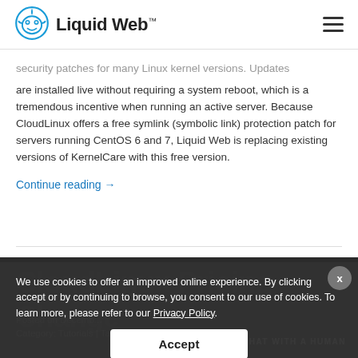Liquid Web™
security patches for many Linux kernel versions. Updates are installed live without requiring a system reboot, which is a tremendous incentive when running an active server. Because CloudLinux offers a free symlink (symbolic link) protection patch for servers running CentOS 6 and 7, Liquid Web is replacing existing versions of KernelCare with this free version.
Continue reading →
CloudLinux Pricing Change
We use cookies to offer an improved online experience. By clicking accept or by continuing to browse, you consent to our use of cookies. To learn more, please refer to our Privacy Policy.
Accept
Posted on December
Category: Tutorials | Ta
CHAT WITH A HUMAN